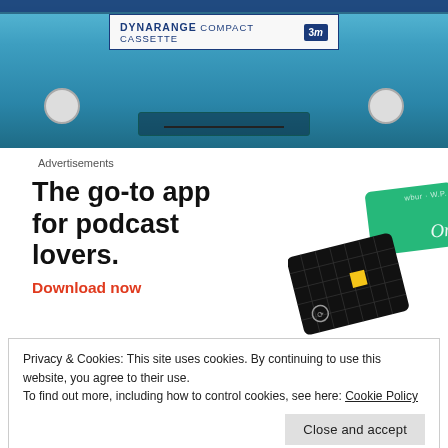[Figure (photo): Close-up photo of a teal/blue 3M Dynarange compact cassette tape showing the label, tape reels, and tape window]
Advertisements
[Figure (illustration): Advertisement graphic showing podcast app cards — a black grid card with yellow square and a green card — alongside the ad headline text]
The go-to app for podcast lovers. Download now
Privacy & Cookies: This site uses cookies. By continuing to use this website, you agree to their use.
To find out more, including how to control cookies, see here: Cookie Policy
Close and accept
Share this rock: